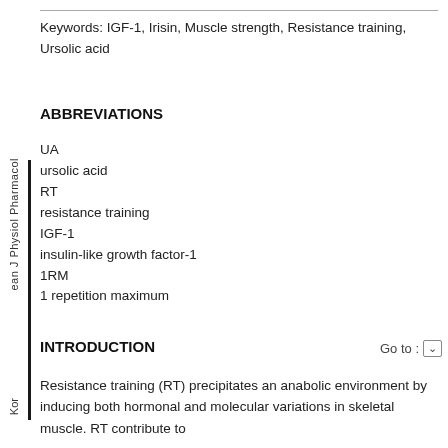Keywords: IGF-1, Irisin, Muscle strength, Resistance training, Ursolic acid
ABBREVIATIONS
UA
ursolic acid
RT
resistance training
IGF-1
insulin-like growth factor-1
1RM
1 repetition maximum
INTRODUCTION
Resistance training (RT) precipitates an anabolic environment by inducing both hormonal and molecular variations in skeletal muscle. RT contribute to